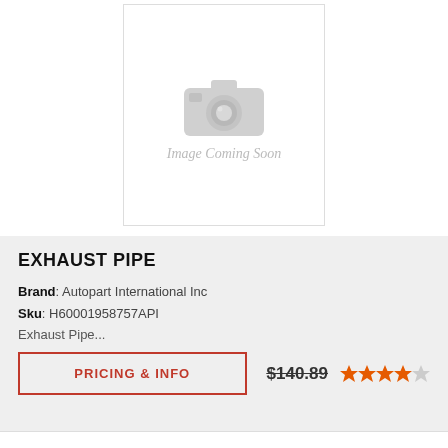[Figure (photo): Image Coming Soon placeholder with camera icon and italic text 'Image Coming Soon']
EXHAUST PIPE
Brand: Autopart International Inc
Sku: H60001958757API
Exhaust Pipe...
PRICING & INFO
$140.89
[Figure (other): 4 out of 5 orange stars rating]